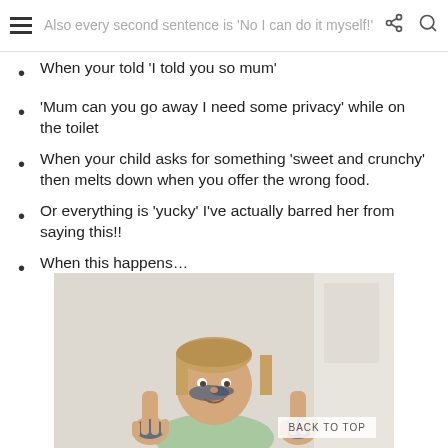Also every second sentence is 'No I can do it myself!'
When your told 'I told you so mum'
'Mum can you go away I need some privacy' while on the toilet
When your child asks for something 'sweet and crunchy' then melts down when you offer the wrong food.
Or everything is 'yucky' I've actually barred her from saying this!!
When this happens…
[Figure (photo): A young child with paint on her face and hands, holding her hands up toward the camera, smiling.]